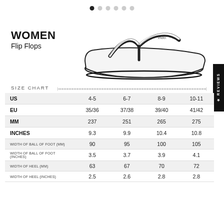[Figure (other): Pagination dots row, 6 circles, first filled black, rest gray]
WOMEN
Flip Flops
[Figure (illustration): Line drawing of a women's flip flop sandal with 'indo' logo on strap, side profile view]
SIZE CHART
[Figure (other): Ruler/measurement scale graphic]
|  | 4-5 | 6-7 | 8-9 | 10-11 |
| --- | --- | --- | --- | --- |
| US | 4-5 | 6-7 | 8-9 | 10-11 |
| EU | 35/36 | 37/38 | 39/40 | 41/42 |
| MM | 237 | 251 | 265 | 275 |
| INCHES | 9.3 | 9.9 | 10.4 | 10.8 |
| WIDTH OF BALL OF FOOT (MM) | 90 | 95 | 100 | 105 |
| WIDTH OF BALL OF FOOT (INCHES) | 3.5 | 3.7 | 3.9 | 4.1 |
| WIDTH OF HEEL (MM) | 63 | 67 | 70 | 72 |
| WIDTH OF HEEL (INCHES) | 2.5 | 2.6 | 2.8 | 2.8 |